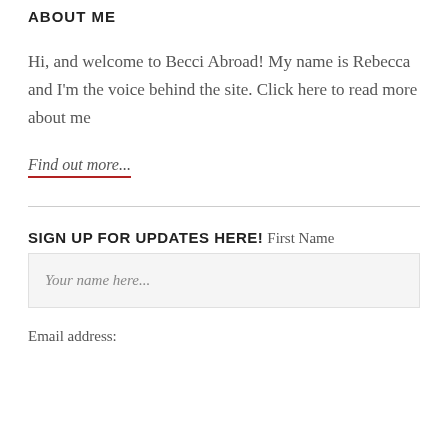ABOUT ME
Hi, and welcome to Becci Abroad! My name is Rebecca and I'm the voice behind the site. Click here to read more about me
Find out more...
SIGN UP FOR UPDATES HERE!
First Name
Your name here...
Email address: